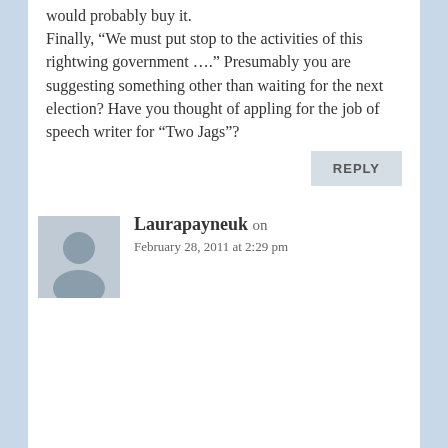would probably buy it.
Finally, “We must put stop to the activities of this rightwing government ….” Presumably you are suggesting something other than waiting for the next election? Have you thought of appling for the job of speech writer for “Two Jags”?
REPLY
Laurapayneuk on
February 28, 2011 at 2:29 pm